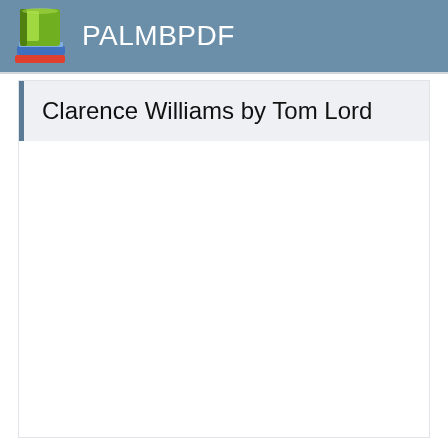PALMBPDF
Clarence Williams by Tom Lord